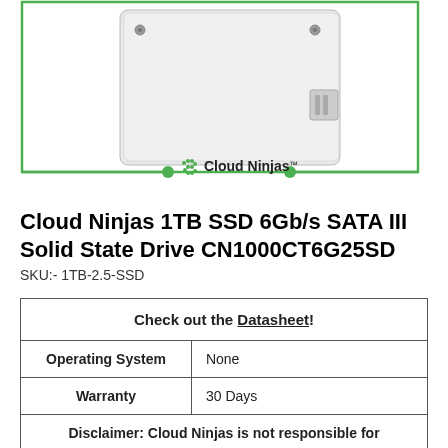[Figure (photo): Cloud Ninjas SSD product image showing a white 2.5-inch solid state drive, with a green rectangular border around the image area and the Cloud Ninjas logo (green dotted S icon) and wordmark centered at the bottom of the border.]
Cloud Ninjas 1TB SSD 6Gb/s SATA III Solid State Drive CN1000CT6G25SD
SKU:- 1TB-2.5-SSD
| Check out the Datasheet! |
| --- |
| Operating System | None |
| Warranty | 30 Days |
| Disclaimer: Cloud Ninjas is not responsible for |  |